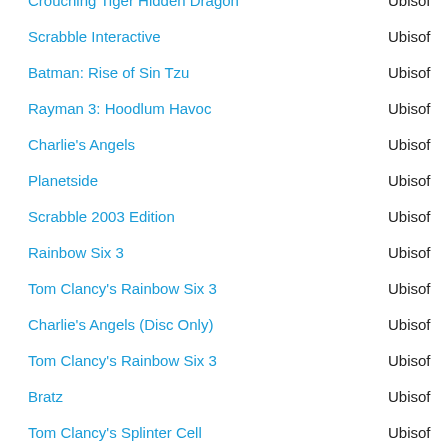Crouching Tiger Hidden Dragon — Ubisoft
Scrabble Interactive — Ubisoft
Batman: Rise of Sin Tzu — Ubisoft
Rayman 3: Hoodlum Havoc — Ubisoft
Charlie's Angels — Ubisoft
Planetside — Ubisoft
Scrabble 2003 Edition — Ubisoft
Rainbow Six 3 — Ubisoft
Tom Clancy's Rainbow Six 3 — Ubisoft
Charlie's Angels (Disc Only) — Ubisoft
Tom Clancy's Rainbow Six 3 — Ubisoft
Bratz — Ubisoft
Tom Clancy's Splinter Cell — Ubisoft
Prince of Persia The Sands of Time — Ubisoft
XIII — Ubisoft